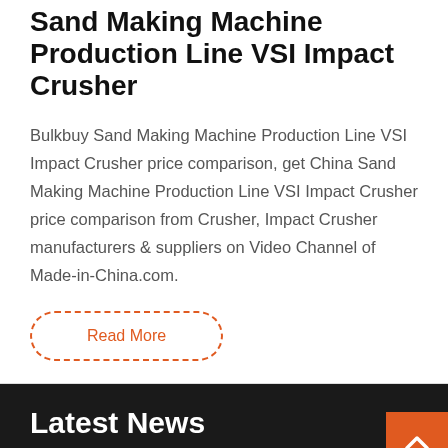Sand Making Machine Production Line VSI Impact Crusher
Bulkbuy Sand Making Machine Production Line VSI Impact Crusher price comparison, get China Sand Making Machine Production Line VSI Impact Crusher price comparison from Crusher, Impact Crusher manufacturers & suppliers on Video Channel of Made-in-China.com.
Read More
Latest News
mobile stone crushing equipment belgium